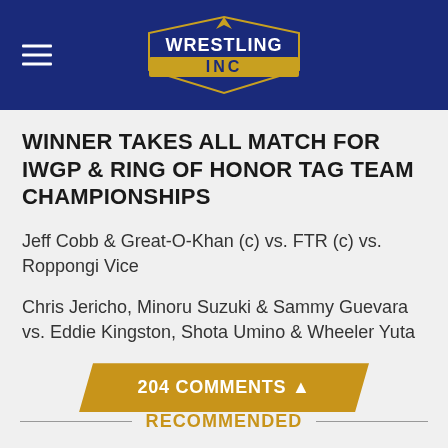Wrestling Inc
WINNER TAKES ALL MATCH FOR IWGP & RING OF HONOR TAG TEAM CHAMPIONSHIPS
Jeff Cobb & Great-O-Khan (c) vs. FTR (c) vs. Roppongi Vice
Chris Jericho, Minoru Suzuki & Sammy Guevara vs. Eddie Kingston, Shota Umino & Wheeler Yuta
204 COMMENTS ▲
RECOMMENDED